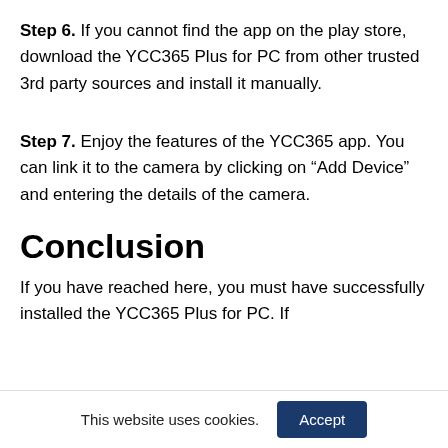Step 6. If you cannot find the app on the play store, download the YCC365 Plus for PC from other trusted 3rd party sources and install it manually.
Step 7. Enjoy the features of the YCC365 app. You can link it to the camera by clicking on “Add Device” and entering the details of the camera.
Conclusion
If you have reached here, you must have successfully installed the YCC365 Plus for PC. If
This website uses cookies.